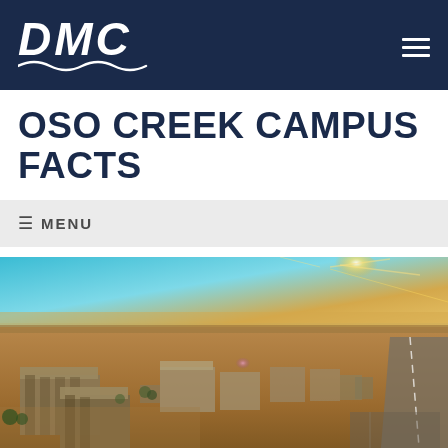DMC
OSO CREEK CAMPUS FACTS
≡ MENU
[Figure (photo): Aerial drone photograph of the Oso Creek Campus under construction, showing large institutional buildings, a highway at right, flat terrain extending to the horizon, and a bright sun flare in the upper right area of the sky.]